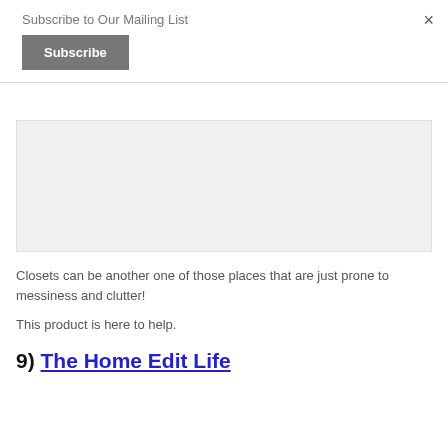Subscribe to Our Mailing List
Subscribe
×
[Figure (other): Gray placeholder advertisement box]
Closets can be another one of those places that are just prone to messiness and clutter!
This product is here to help.
9) The Home Edit Life